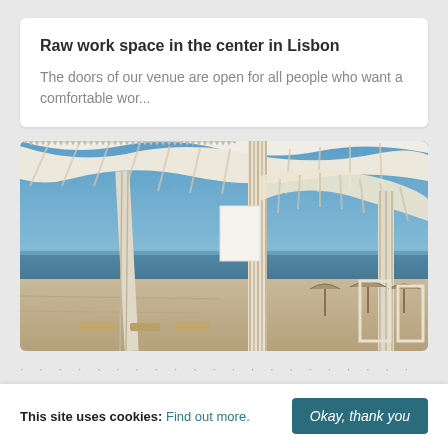Raw work space in the center in Lisbon
The doors of our venue are open for all people who want a comfortable wor...
[Figure (photo): Beach photo showing a white striped fabric canopy/pergola structure over a beach area with the ocean and blue sky in the background, and beach furniture below.]
· · · · · · · · · · · · · · · · · · · · · · · · · ·
This site uses cookies: Find out more. Okay, thank you